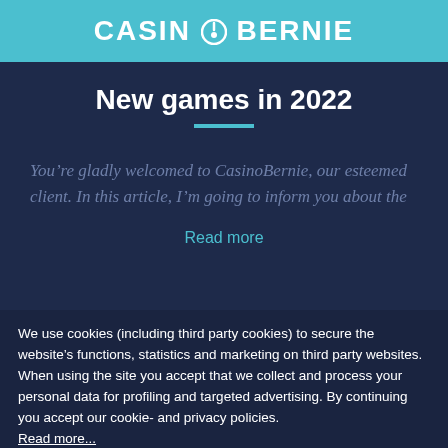CASINOBERNIE
New games in 2022
You’re gladly welcomed to CasinoBernie, our esteemed client. In this article, I’m going to inform you about the
Read more
We use cookies (including third party cookies) to secure the website’s functions, statistics and marketing on third party websites. When using the site you accept that we collect and process your personal data for profiling and targeted advertising. By continuing you accept our cookie- and privacy policies. Read more...
OK
New  Free  Exclusive  Search  Menu